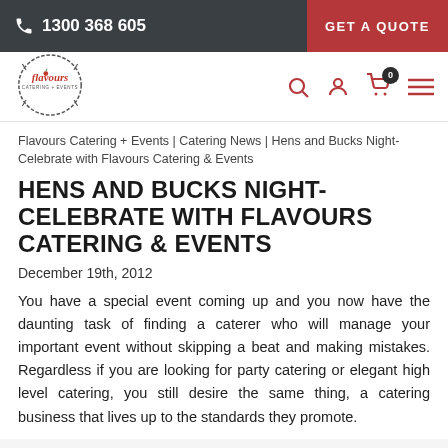1300 368 605  |  GET A QUOTE
[Figure (logo): Flavours Catering + Events logo — circular sketch style logo with brand name]
Flavours Catering + Events | Catering News | Hens and Bucks Night- Celebrate with Flavours Catering & Events
HENS AND BUCKS NIGHT- CELEBRATE WITH FLAVOURS CATERING & EVENTS
December 19th, 2012
You have a special event coming up and you now have the daunting task of finding a caterer who will manage your important event without skipping a beat and making mistakes. Regardless if you are looking for party catering or elegant high level catering, you still desire the same thing, a catering business that lives up to the standards they promote.